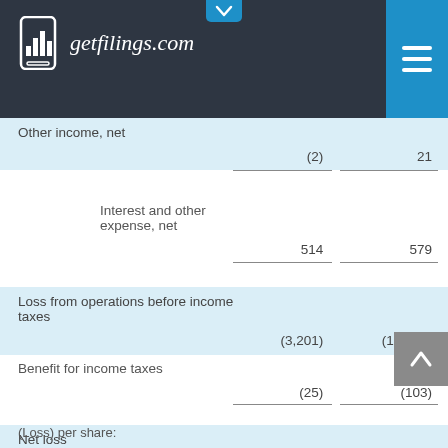getfilings.com
|  | Col1 | Col2 |
| --- | --- | --- |
| Other income, net | (2) | 21 |
| Interest and other expense, net | 514 | 579 |
| Loss from operations before income taxes | (3,201) | (11,479) |
| Benefit for income taxes | (25) | (103) |
| Net loss | $ (3,176) | $ (11,376) |
(Loss) per share: